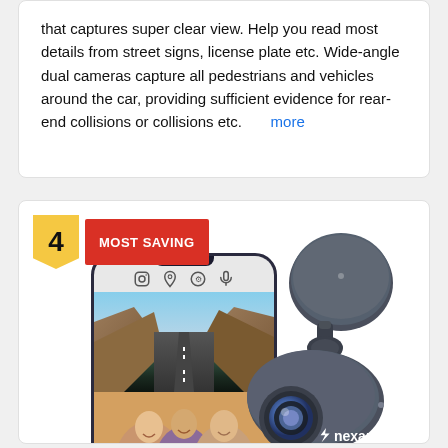that captures super clear view. Help you read most details from street signs, license plate etc. Wide-angle dual cameras capture all pedestrians and vehicles around the car, providing sufficient evidence for rear-end collisions or collisions etc. more
[Figure (photo): Product listing card showing number badge '4' with 'MOST SAVING' red label, a smartphone mockup displaying road and interior footage with app icons, and a Nexar dash camera device beside it]